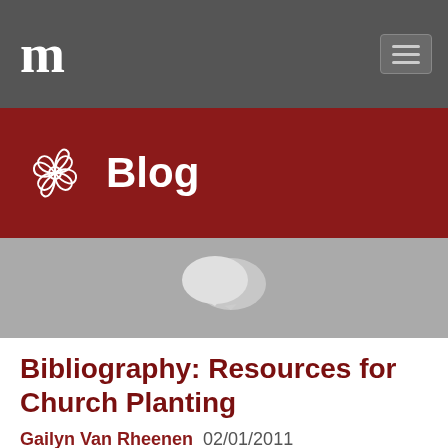m
Blog
[Figure (illustration): Two overlapping speech/comment bubble icons in light gray on a gray background]
Bibliography: Resources for Church Planting
Gailyn Van Rheenen 02/01/2011
Tags: GVR
This bibliography is based upon the presupposition that church planters must understand the missional nature of the church